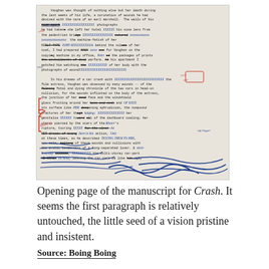[Figure (photo): Photograph of the opening page of J.G. Ballard's manuscript for Crash, showing heavily annotated and crossed-out typewritten text with blue and red handwritten additions, corrections, and margin notes.]
Opening page of the manuscript for Crash. It seems the first paragraph is relatively untouched, the little seed of a vision pristine and insistent.
Source: Boing Boing